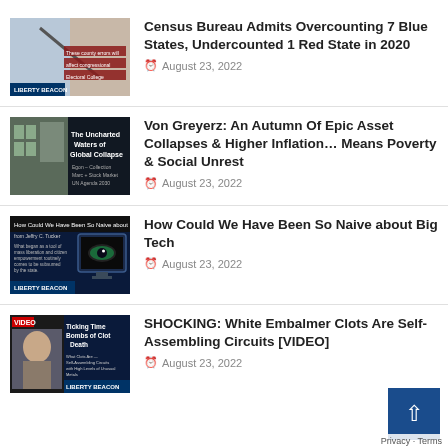[Figure (screenshot): Thumbnail for Census Bureau article showing map of US states with text overlay]
Census Bureau Admits Overcounting 7 Blue States, Undercounted 1 Red State in 2020
August 23, 2022
[Figure (screenshot): Thumbnail for Von Greyerz article showing building and text 'The Uncharted Waters of Global Collapse']
Von Greyerz: An Autumn Of Epic Asset Collapses & Higher Inflation… Means Poverty & Social Unrest
August 23, 2022
[Figure (screenshot): Thumbnail for Big Tech article showing eye on monitor screen]
How Could We Have Been So Naive about Big Tech
August 23, 2022
[Figure (screenshot): Thumbnail for White Embalmer Clots article showing man and text 'Ticking Time Bombs of Clot Death']
SHOCKING: White Embalmer Clots Are Self-Assembling Circuits [VIDEO]
August 23, 2022